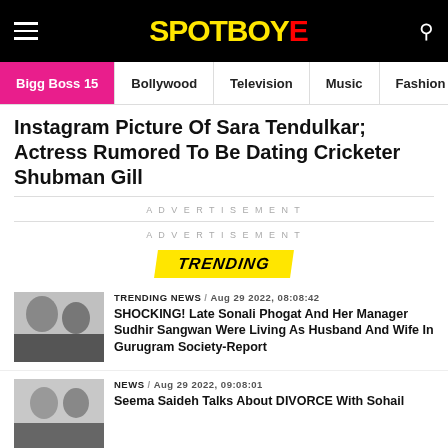SPOTBOYE
Bigg Boss 15 | Bollywood | Television | Music | Fashion
Instagram Picture Of Sara Tendulkar; Actress Rumored To Be Dating Cricketer Shubman Gill
ADVERTISEMENT
ADVERTISEMENT
[Figure (infographic): TRENDING badge in yellow with black italic bold text on skewed background]
TRENDING NEWS / Aug 29 2022, 08:08:42
SHOCKING! Late Sonali Phogat And Her Manager Sudhir Sangwan Were Living As Husband And Wife In Gurugram Society-Report
NEWS / Aug 29 2022, 09:08:01
Seema Saideh Talks About DIVORCE With Sohail